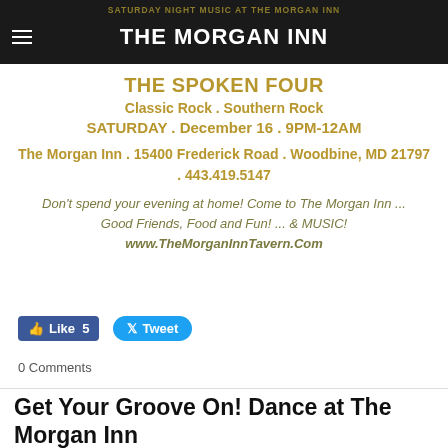SATURDAY NIGHT MUSIC AT THE MORGAN INN — THE MORGAN INN
THE SPOKEN FOUR
Classic Rock . Southern Rock
SATURDAY . December 16 . 9PM-12AM
The Morgan Inn . 15400 Frederick Road . Woodbine, MD 21797 . 443.419.5147
Don't spend your evening at home! Come to The Morgan Inn ... Good Friends, Food and Fun! ... & MUSIC!
www.TheMorganInnTavern.Com
0 Comments
Get Your Groove On! Dance at The Morgan Inn